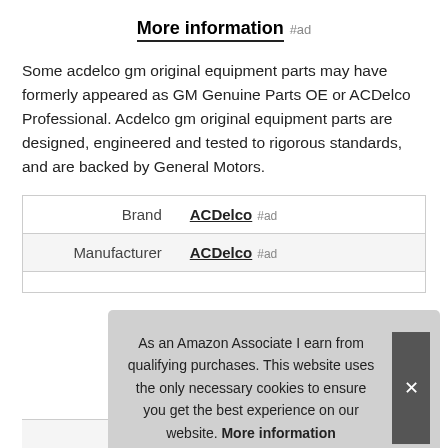More information #ad
Some acdelco gm original equipment parts may have formerly appeared as GM Genuine Parts OE or ACDelco Professional. Acdelco gm original equipment parts are designed, engineered and tested to rigorous standards, and are backed by General Motors.
| Brand | ACDelco #ad |
| Manufacturer | ACDelco #ad |
As an Amazon Associate I earn from qualifying purchases. This website uses the only necessary cookies to ensure you get the best experience on our website. More information